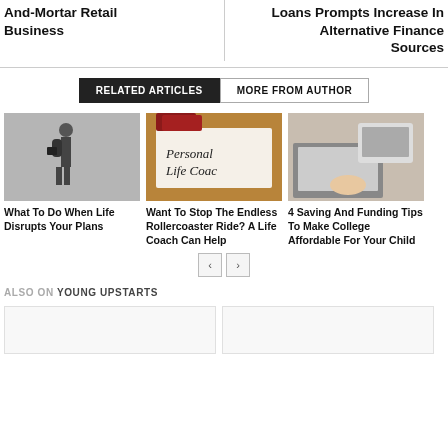And-Mortar Retail Business
Loans Prompts Increase In Alternative Finance Sources
RELATED ARTICLES | MORE FROM AUTHOR
[Figure (photo): Person standing against a wall with a briefcase, black and white]
What To Do When Life Disrupts Your Plans
[Figure (photo): Notebook with 'Personal Life Coach' written on it, on a wooden table with books]
Want To Stop The Endless Rollercoaster Ride? A Life Coach Can Help
[Figure (photo): Person at a desk using a calculator and laptop]
4 Saving And Funding Tips To Make College Affordable For Your Child
ALSO ON YOUNG UPSTARTS